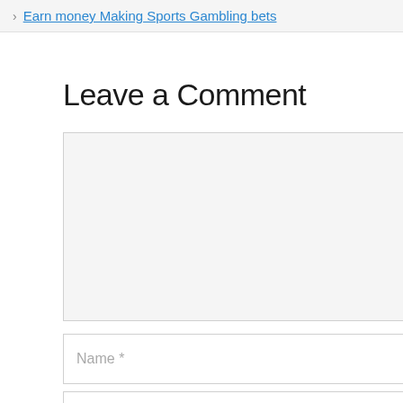Earn money Making Sports Gambling bets
Leave a Comment
Name *